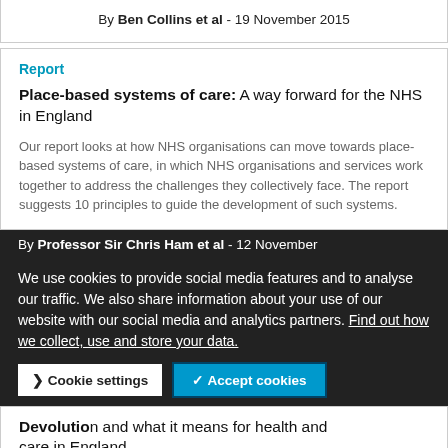By Ben Collins et al - 19 November 2015
Report
Place-based systems of care: A way forward for the NHS in England
Our report looks at how NHS organisations can move towards place-based systems of care, in which NHS organisations and services work together to address the challenges they collectively face. The report suggests 10 principles to guide the development of such systems.
By Professor Sir Chris Ham et al - 12 November
We use cookies to provide social media features and to analyse our traffic. We also share information about your use of our website with our social media and analytics partners. Find out how we collect, use and store your data.
Devolution and devo... means for health and care in England